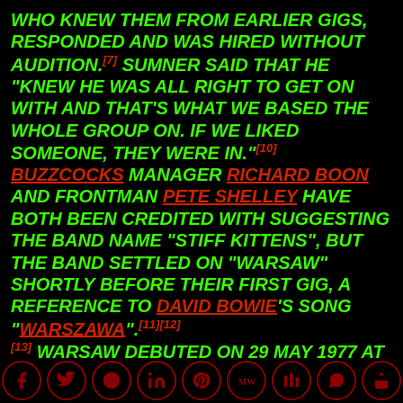who knew them from earlier gigs, responded and was hired without audition.[7] Sumner said that he "knew he was all right to get on with and that's what we based the whole group on. If we liked someone, they were in."[10] Buzzcocks manager Richard Boon and frontman Pete Shelley have both been credited with suggesting the band name "Stiff Kittens", but the band settled on "Warsaw" shortly before their first gig, a reference to David Bowie's song "Warszawa".[11][12][13] Warsaw debuted on 29 May 1977 at the Electric Circus, supporting the Buzzcocks, Penetration and John Cooper Clarke.
social media icons: facebook, twitter, reddit, linkedin, pinterest, MW, mix, whatsapp, share